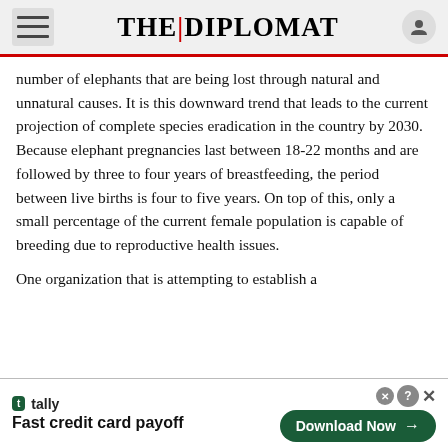THE DIPLOMAT
number of elephants that are being lost through natural and unnatural causes. It is this downward trend that leads to the current projection of complete species eradication in the country by 2030. Because elephant pregnancies last between 18-22 months and are followed by three to four years of breastfeeding, the period between live births is four to five years. On top of this, only a small percentage of the current female population is capable of breeding due to reproductive health issues.
One organization that is attempting to establish a
[Figure (screenshot): Tally app advertisement banner: 'Fast credit card payoff' with Download Now button]